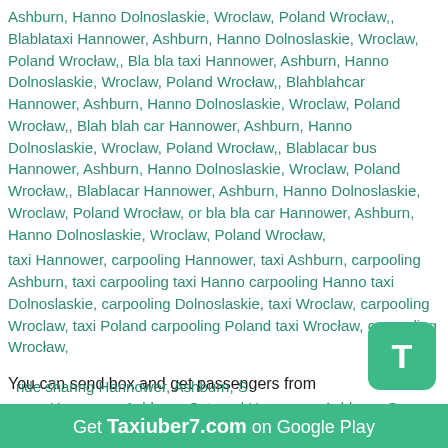Ashburn, Hanno Dolnoslaskie, Wroclaw, Poland Wrocław,, Blablataxi Hannower, Ashburn, Hanno Dolnoslaskie, Wroclaw, Poland Wrocław,, Bla bla taxi Hannower, Ashburn, Hanno Dolnoslaskie, Wroclaw, Poland Wrocław,, Blahblahcar Hannower, Ashburn, Hanno Dolnoslaskie, Wroclaw, Poland Wrocław,, Blah blah car Hannower, Ashburn, Hanno Dolnoslaskie, Wroclaw, Poland Wrocław,, Blablacar bus Hannower, Ashburn, Hanno Dolnoslaskie, Wroclaw, Poland Wrocław,, Blablacar Hannower, Ashburn, Hanno Dolnoslaskie, Wroclaw, Poland Wrocław, or bla bla car Hannower, Ashburn, Hanno Dolnoslaskie, Wroclaw, Poland Wrocław,
taxi Hannower, carpooling Hannower, taxi Ashburn, carpooling Ashburn, taxi carpooling taxi Hanno carpooling Hanno taxi Dolnoslaskie, carpooling Dolnoslaskie, taxi Wroclaw, carpooling Wroclaw, taxi Poland carpooling Poland taxi Wrocław, carpooling Wrocław,
You can send box and get passengers from
cargo Hannower, Ashburn, S, travel Hannower, Ashburn, S, covoiturage Hannower, Ashburn, S wizz air Hannower, Ashburn, S wizzair Hannower, Ashburn, S car sharing Hannower, Ashburn, S carsharing Hannower, Ashburn, S ride sharing Hannower, Ashburn, S
Get Taxiuber7.com on Google Play